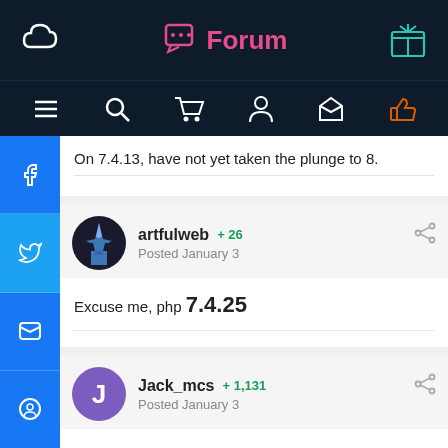Forum
On 7.4.13, have not yet taken the plunge to 8.
artfulweb   +26   Posted January 3
Excuse me, php 7.4.25
Jack_mcs   +1,131   Posted January 3
I'm sorry but I don't have an answer for you. If I could reproduce it here then I could look into it. But since it works for me there's not a lot I can do. There were a lot of updated between those two